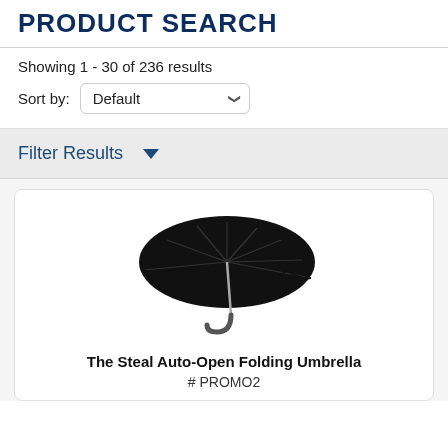PRODUCT SEARCH
Showing 1 - 30 of 236 results
Sort by: Default
Filter Results
[Figure (photo): A black folding auto-open umbrella shown open from a slight angle, with a silver/grey curved handle.]
The Steal Auto-Open Folding Umbrella
# PROMO2